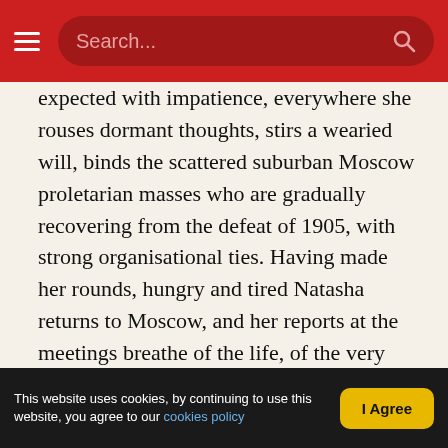Search... [navigation bar with hamburger menu and search field]
expected with impatience, everywhere she rouses dormant thoughts, stirs a wearied will, binds the scattered suburban Moscow proletarian masses who are gradually recovering from the defeat of 1905, with strong organisational ties. Having made her rounds, hungry and tired Natasha returns to Moscow, and her reports at the meetings breathe of the life, of the very heart, of the working masses…As a measure of safety Natasha and I arranged to keep away from each other, although this was not easy, for we were most intimate friends right until she died.
"At twelve o'clock one night, however, she came to my lodgings and said that she was forced to break our agreement, because, having visited the homes of three sympathisers to ask to be allowed to stay she had met with a polite refusal at all of them and found herself on the
This website uses cookies, by continuing to use this website, you agree to our cookies policy  |  I Agree